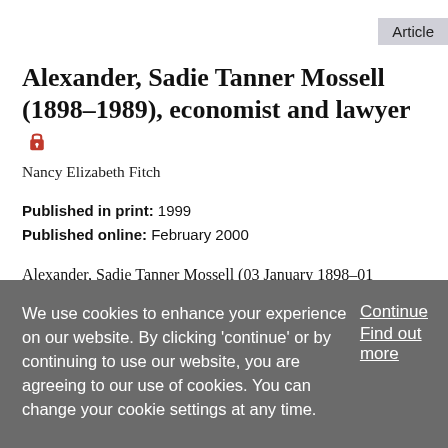Article
Alexander, Sadie Tanner Mossell (1898–1989), economist and lawyer 🔒
Nancy Elizabeth Fitch
Published in print: 1999
Published online: February 2000
Alexander, Sadie Tanner Mossell (03 January 1898–01 November 1989), economist and lawyer, was born in Philadelphia, Pennsylvania, the daughter of Aaron Mossell, an attorney and the first black graduate of the University of
We use cookies to enhance your experience on our website. By clicking 'continue' or by continuing to use our website, you are agreeing to our use of cookies. You can change your cookie settings at any time.